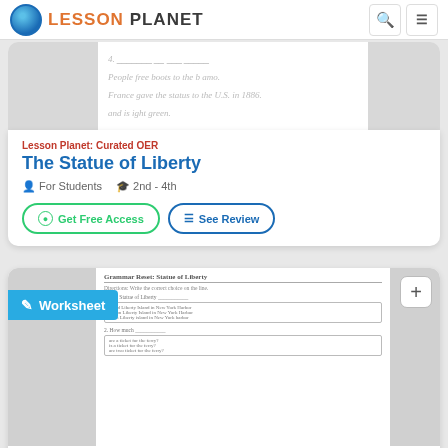LESSON PLANET
[Figure (screenshot): Preview of a handwritten worksheet about the Statue of Liberty with faint text lines]
Lesson Planet: Curated OER
The Statue of Liberty
For Students  2nd - 4th
Get Free Access   See Review
[Figure (screenshot): Preview of Grammar Reset: Statue of Liberty worksheet with multiple choice questions]
Lesson Planet: Curated OER
Statue of Liberty- Grammar Multiple Choice